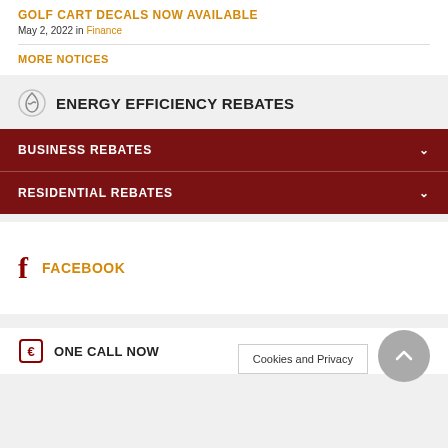GOLF CART DECALS NOW AVAILABLE
May 2, 2022 in Finance
MORE NOTICES
ENERGY EFFICIENCY REBATES
BUSINESS REBATES
RESIDENTIAL REBATES
FACEBOOK
ONE CALL NOW
Cookies and Privacy